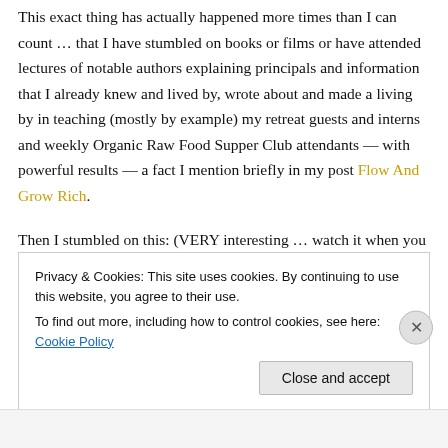This exact thing has actually happened more times than I can count … that I have stumbled on books or films or have attended lectures of notable authors explaining principals and information that I already knew and lived by, wrote about and made a living by in teaching (mostly by example) my retreat guests and interns and weekly Organic Raw Food Supper Club attendants — with powerful results — a fact I mention briefly in my post Flow And Grow Rich.
Then I stumbled on this: (VERY interesting … watch it when you get the chance)
Privacy & Cookies: This site uses cookies. By continuing to use this website, you agree to their use. To find out more, including how to control cookies, see here: Cookie Policy